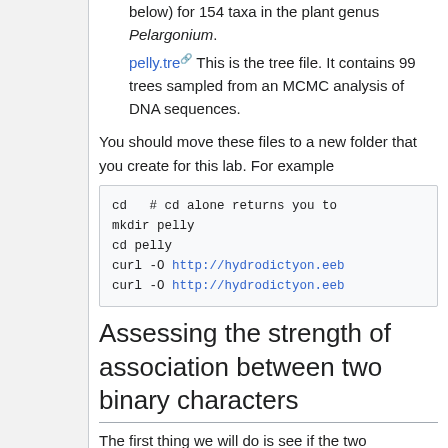below) for 154 taxa in the plant genus Pelargonium.
pelly.tre [external link] This is the tree file. It contains 99 trees sampled from an MCMC analysis of DNA sequences.
You should move these files to a new folder that you create for this lab. For example
cd   # cd alone returns you to
mkdir pelly
cd pelly
curl -O http://hydrodictyon.eeb
curl -O http://hydrodictyon.eeb
Assessing the strength of association between two binary characters
The first thing we will do is see if the two